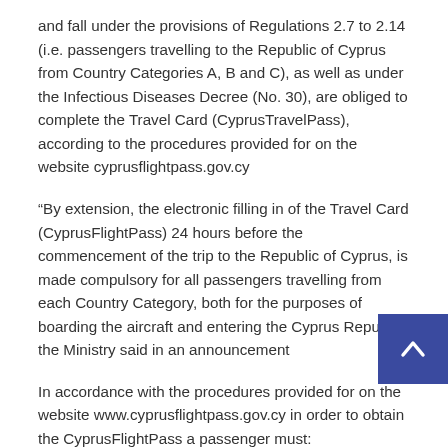and fall under the provisions of Regulations 2.7 to 2.14 (i.e. passengers travelling to the Republic of Cyprus from Country Categories A, B and C), as well as under the Infectious Diseases Decree (No. 30), are obliged to complete the Travel Card (CyprusTravelPass), according to the procedures provided for on the website cyprusflightpass.gov.cy
“By extension, the electronic filling in of the Travel Card (CyprusFlightPass) 24 hours before the commencement of the trip to the Republic of Cyprus, is made compulsory for all passengers travelling from each Country Category, both for the purposes of boarding the aircraft and entering the Cyprus Republic,” the Ministry said in an announcement
In accordance with the procedures provided for on the website www.cyprusflightpass.gov.cy in order to obtain the CyprusFlightPass a passenger must:
[Figure (other): Blue back-to-top button with upward chevron arrow in bottom-right corner]